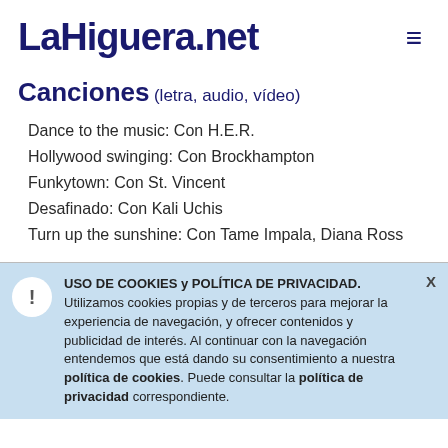LaHiguera.net
Canciones (letra, audio, vídeo)
Dance to the music: Con H.E.R.
Hollywood swinging: Con Brockhampton
Funkytown: Con St. Vincent
Desafinado: Con Kali Uchis
Turn up the sunshine: Con Tame Impala, Diana Ross
USO DE COOKIES y POLÍTICA DE PRIVACIDAD. Utilizamos cookies propias y de terceros para mejorar la experiencia de navegación, y ofrecer contenidos y publicidad de interés. Al continuar con la navegación entendemos que está dando su consentimiento a nuestra política de cookies. Puede consultar la política de privacidad correspondiente.